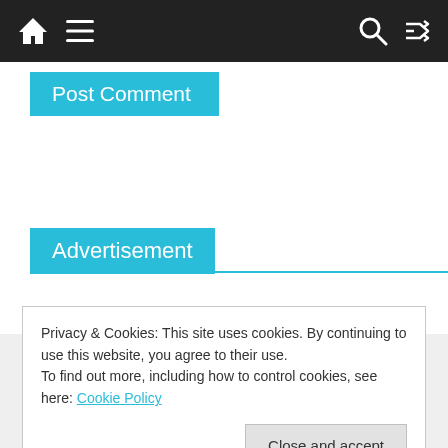Navigation bar with home, menu, search, and shuffle icons
Post Comment
Advertisement
Privacy & Cookies: This site uses cookies. By continuing to use this website, you agree to their use.
To find out more, including how to control cookies, see here: Cookie Policy
Close and accept